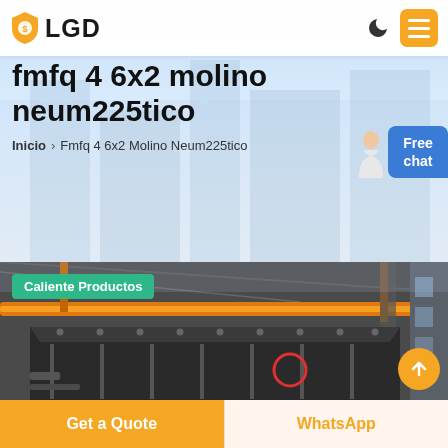[Figure (logo): LGD logo with shield icon and company name]
fmfq 4 6x2 molino neum225tico
Inicio > Fmfq 4 6x2 Molino Neum225tico
[Figure (photo): Industrial factory interior with orange overhead crane, large metal machinery (mill), and industrial building structure. Red circle overlay on machine.]
Caliente Productos
Free chat
Get a Quote
WhatsApp